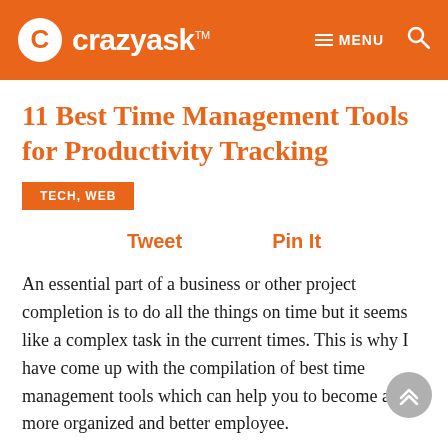crazyask™ MENU
11 Best Time Management Tools for Productivity Tracking
TECH, WEB
Tweet   Pin It
An essential part of a business or other project completion is to do all the things on time but it seems like a complex task in the current times. This is why I have come up with the compilation of best time management tools which can help you to become a more organized and better employee.